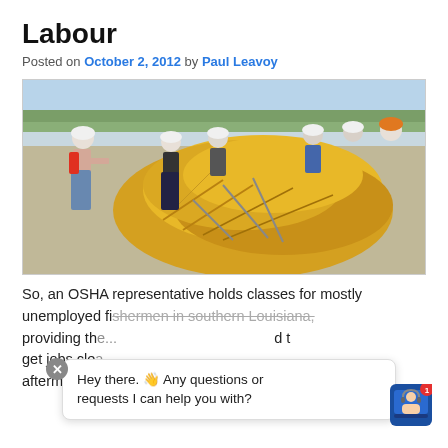Labour
Posted on October 2, 2012 by Paul Leavoy
[Figure (photo): Workers in white hard hats and one in an orange hard hat handling large yellow oil spill containment booms piled on a surface near water, in what appears to be cleanup work from the 2010 oil spill.]
So, an OSHA representative holds classes for mostly unemployed fishermen in southern Louisiana, providing the... and they get jobs clea... aftermath of the 2010 oil spill. Sounds reasonable
Hey there. 👋 Any questions or requests I can help you with?